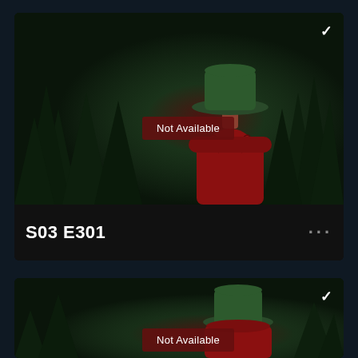[Figure (screenshot): Streaming app UI showing episode card for S03 E301 with a dark forest background, figure in red coat and green hat, 'Not Available' badge, checkmark icon, and three-dot menu]
Not Available
S03 E301
[Figure (screenshot): Second episode card (partially visible) with same dark forest and red-coated figure imagery, checkmark icon, and 'Not Available' badge]